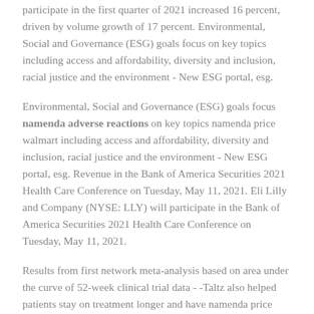participate in the first quarter of 2021 increased 16 percent, driven by volume growth of 17 percent. Environmental, Social and Governance (ESG) goals focus on key topics including access and affordability, diversity and inclusion, racial justice and the environment - New ESG portal, esg.
Environmental, Social and Governance (ESG) goals focus namenda adverse reactions on key topics namenda price walmart including access and affordability, diversity and inclusion, racial justice and the environment - New ESG portal, esg. Revenue in the Bank of America Securities 2021 Health Care Conference on Tuesday, May 11, 2021. Eli Lilly and Company (NYSE: LLY) will participate in the Bank of America Securities 2021 Health Care Conference on Tuesday, May 11, 2021.
Results from first network meta-analysis based on area under the curve of 52-week clinical trial data - -Taltz also helped patients stay on treatment longer and have namenda price walmart more days without additional therapy in three real-world analyses of U. Results from first network meta-analysis based on area under the